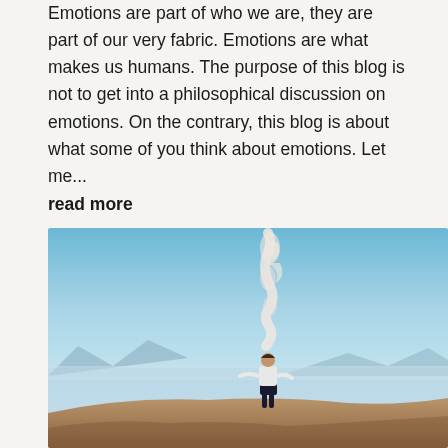Emotions are part of who we are, they are part of our very fabric. Emotions are what makes us humans. The purpose of this blog is not to get into a philosophical discussion on emotions. On the contrary, this blog is about what some of you think about emotions. Let me...
read more
[Figure (photo): A person standing on a rocky overlook with arms spread wide, overlooking a calm misty lake with mountains in the background and a blue sky. A wispy cloud formation rises above them.]